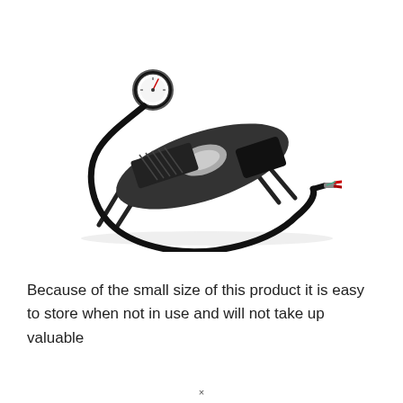[Figure (photo): A black foot pump / air pump with a pressure gauge on top, a long black hose, and a red-tipped inflation needle at the end of the hose. The pump has a metal foot pedal platform and support legs.]
Because of the small size of this product it is easy to store when not in use and will not take up valuable
×